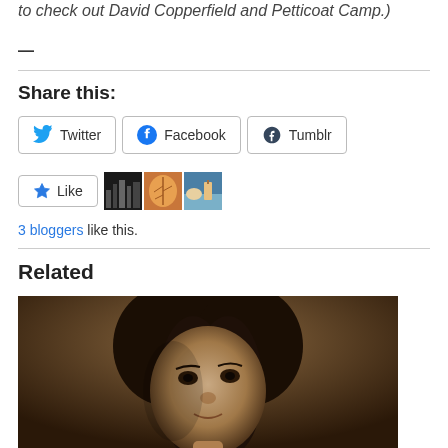to check out David Copperfield and Petticoat Camp.)
—
Share this:
Twitter | Facebook | Tumblr (share buttons)
Like | 3 bloggers like this.
Related
[Figure (photo): Sepia-toned close-up portrait photograph of a woman with curly dark hair and a direct gaze.]